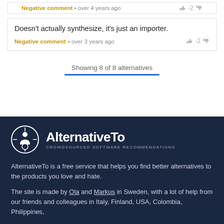Negative comment • over 4 years ago   -2
Doesn't actually synthesize, it's just an importer.
Negative comment • over 3 years ago   -2
Showing 8 of 8 alternatives
[Figure (logo): AlternativeTo logo — circular icon with stylized figure and cross, beside bold text 'AlternativeTo' with tagline 'CROWDSOURCED SOFTWARE RECOMMENDATIONS']
AlternativeTo is a free service that helps you find better alternatives to the products you love and hate.
The site is made by Ola and Markus in Sweden, with a lot of help from our friends and colleagues in Italy, Finland, USA, Colombia, Philippines,